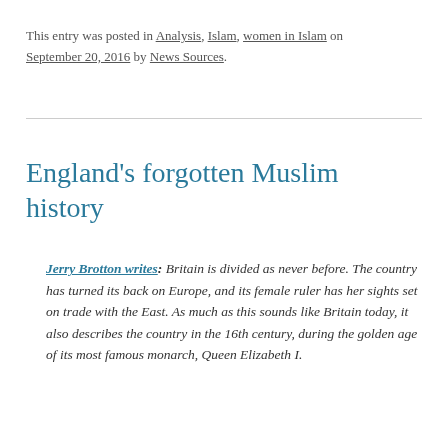This entry was posted in Analysis, Islam, women in Islam on September 20, 2016 by News Sources.
England's forgotten Muslim history
Jerry Brotton writes: Britain is divided as never before. The country has turned its back on Europe, and its female ruler has her sights set on trade with the East. As much as this sounds like Britain today, it also describes the country in the 16th century, during the golden age of its most famous monarch, Queen Elizabeth I.